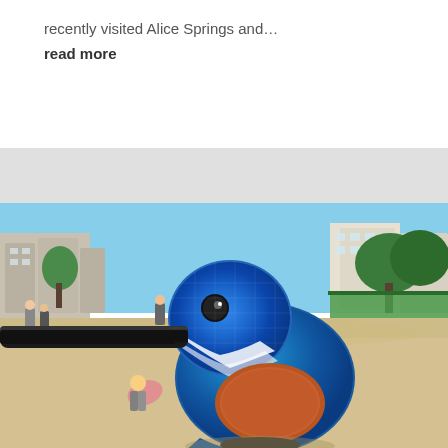recently visited Alice Springs and...
read more
[Figure (photo): Large mosaic sculpture of a kingfisher bird on a sandy beach, decorated with blue and teal tiles, with a long dark beak, set against a backdrop of beach-goers, coastal buildings, green trees, and a clear blue sky.]